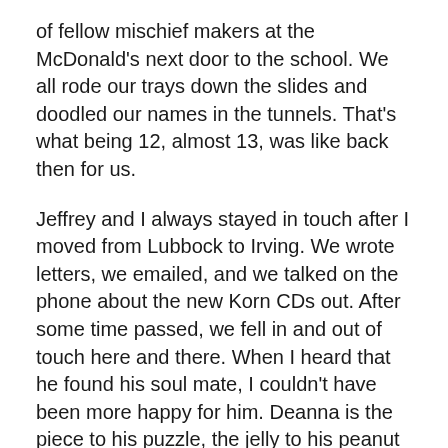of fellow mischief makers at the McDonald's next door to the school. We all rode our trays down the slides and doodled our names in the tunnels. That's what being 12, almost 13, was like back then for us.
Jeffrey and I always stayed in touch after I moved from Lubbock to Irving. We wrote letters, we emailed, and we talked on the phone about the new Korn CDs out. After some time passed, we fell in and out of touch here and there. When I heard that he found his soul mate, I couldn't have been more happy for him. Deanna is the piece to his puzzle, the jelly to his peanut butter, his everything. They met at work and, according to Jeffrey, he knew he wanted to with her from the first moment he saw her. Their first date was a wonderful disaster. Jeff cooked her dinner, a bad dinner, but she ate it anyways. They shared their first kiss that night and from that moment, Jeffrey knew he wanted to grow old with